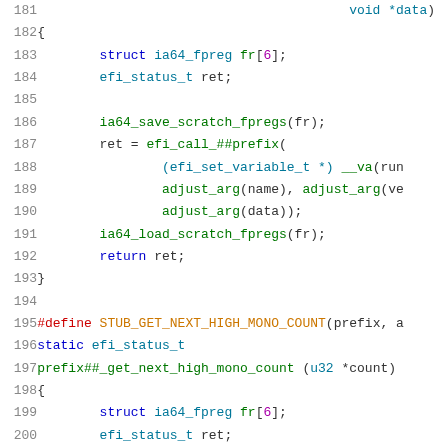[Figure (other): Syntax-highlighted C source code snippet, lines 181–201, showing a function body with ia64 floating-point register save/restore and EFI runtime call, followed by a macro definition STUB_GET_NEXT_HIGH_MONO_COUNT and the start of another static function.]